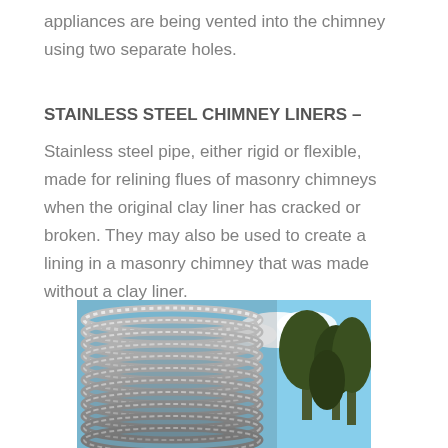appliances are being vented into the chimney using two separate holes.
STAINLESS STEEL CHIMNEY LINERS –
Stainless steel pipe, either rigid or flexible, made for relining flues of masonry chimneys when the original clay liner has cracked or broken. They may also be used to create a lining in a masonry chimney that was made without a clay liner.
[Figure (photo): Coiled flexible stainless steel chimney liner with trees and blue sky in background]